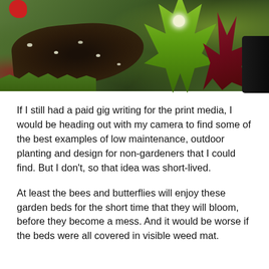[Figure (photo): Garden bed photograph showing dark soil with green leafy plants including a tall central green plant with blade-like leaves, red/purple foliage on the right, a small white flower, a red flower at top left, low ground cover plants, and black weed mat visible on the right edge.]
If I still had a paid gig writing for the print media, I would be heading out with my camera to find some of the best examples of low maintenance, outdoor planting and design for non-gardeners that I could find. But I don't, so that idea was short-lived.
At least the bees and butterflies will enjoy these garden beds for the short time that they will bloom, before they become a mess. And it would be worse if the beds were all covered in visible weed mat.